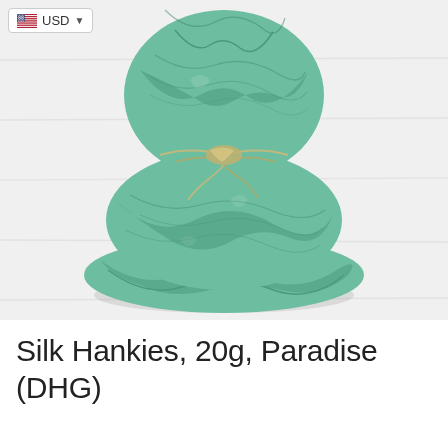USD
[Figure (photo): Bundle of teal/mint green silk hankies tied with twine, photographed on a white wooden surface background.]
Silk Hankies, 20g, Paradise (DHG)